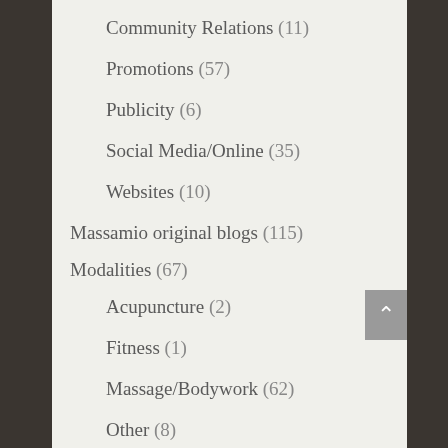Community Relations (11)
Promotions (57)
Publicity (6)
Social Media/Online (35)
Websites (10)
Massamio original blogs (115)
Modalities (67)
Acupuncture (2)
Fitness (1)
Massage/Bodywork (62)
Other (8)
Natural Touch Marketing original blogs (134)
Press Releases (4)
Research (14)